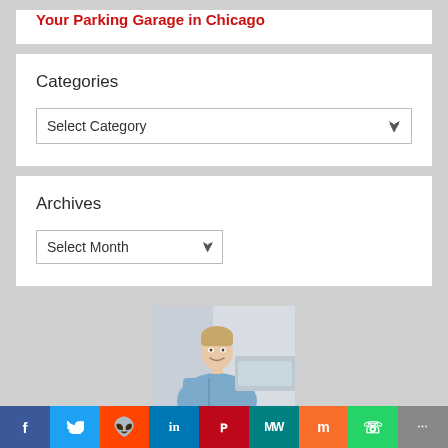Your Parking Garage in Chicago
Categories
Select Category
Archives
Select Month
[Figure (photo): Smiling young man in a light blue shirt, photographed indoors]
Social sharing bar: Facebook, Twitter, Reddit, LinkedIn, Pinterest, MeWe, Mix, WhatsApp, More